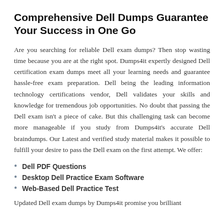Comprehensive Dell Dumps Guarantee Your Success in One Go
Are you searching for reliable Dell exam dumps? Then stop wasting time because you are at the right spot. Dumps4it expertly designed Dell certification exam dumps meet all your learning needs and guarantee hassle-free exam preparation. Dell being the leading information technology certifications vendor, Dell validates your skills and knowledge for tremendous job opportunities. No doubt that passing the Dell exam isn't a piece of cake. But this challenging task can become more manageable if you study from Dumps4it's accurate Dell braindumps. Our Latest and verified study material makes it possible to fulfill your desire to pass the Dell exam on the first attempt. We offer:
Dell PDF Questions
Desktop Dell Practice Exam Software
Web-Based Dell Practice Test
Updated Dell exam dumps by Dumps4it promise you brilliant